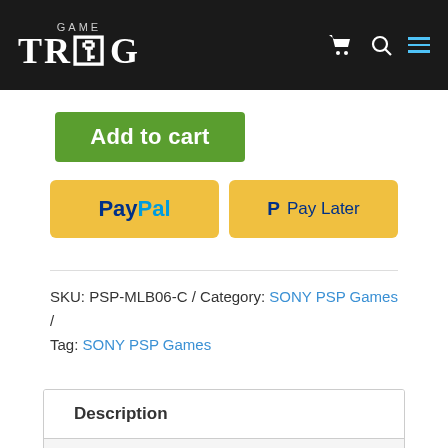Game TROG — navigation bar with logo, cart, search, and menu icons
[Figure (screenshot): Green Add to cart button]
[Figure (screenshot): PayPal and Pay Later yellow payment buttons]
SKU: PSP-MLB06-C / Category: SONY PSP Games / Tag: SONY PSP Games
| Description |
| Additional information |
| Reviews (0) |
|  |